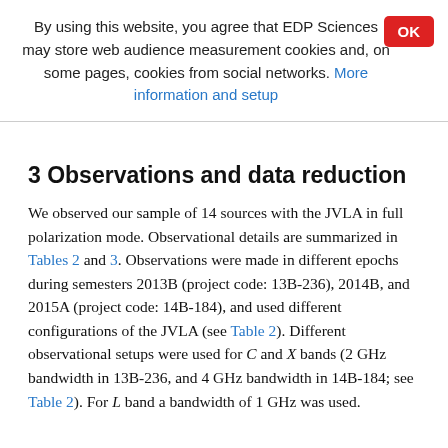By using this website, you agree that EDP Sciences may store web audience measurement cookies and, on some pages, cookies from social networks. More information and setup
3 Observations and data reduction
We observed our sample of 14 sources with the JVLA in full polarization mode. Observational details are summarized in Tables 2 and 3. Observations were made in different epochs during semesters 2013B (project code: 13B-236), 2014B, and 2015A (project code: 14B-184), and used different configurations of the JVLA (see Table 2). Different observational setups were used for C and X bands (2 GHz bandwidth in 13B-236, and 4 GHz bandwidth in 14B-184; see Table 2). For L band a bandwidth of 1 GHz was used.